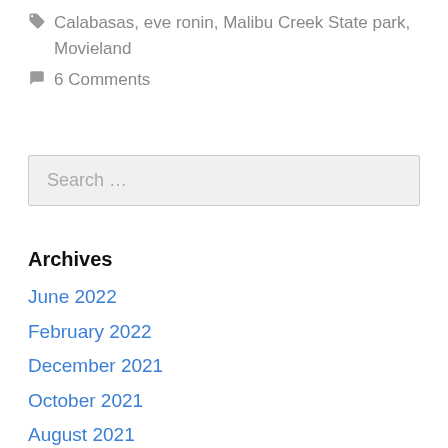🏷 Calabasas, eve ronin, Malibu Creek State park, Movieland
💬 6 Comments
Search …
Archives
June 2022
February 2022
December 2021
October 2021
August 2021